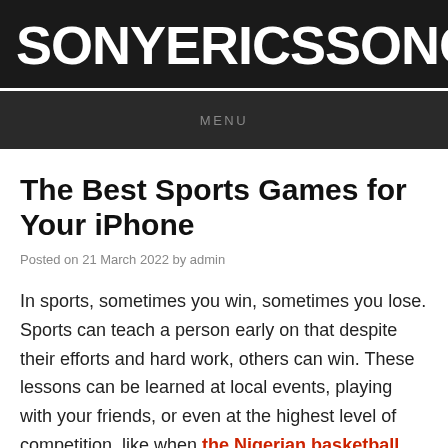SONYERICSSONOPEN.COM
MENU
The Best Sports Games for Your iPhone
Posted on 21 March 2022 by admin
In sports, sometimes you win, sometimes you lose. Sports can teach a person early on that despite their efforts and hard work, others can win. These lessons can be learned at local events, playing with your friends, or even at the highest level of competition, like when the Nigerian basketball team did not